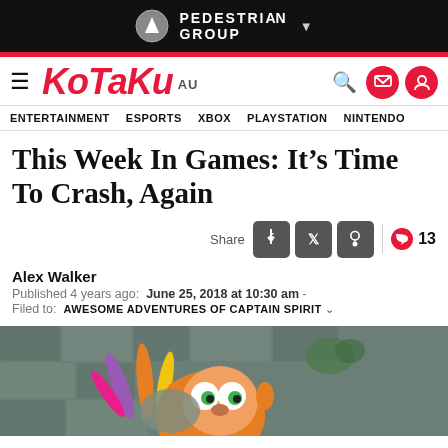PEDESTRIAN GROUP
Kotaku AU — ENTERTAINMENT  ESPORTS  XBOX  PLAYSTATION  NINTENDO
This Week In Games: It's Time To Crash, Again
Share  13
Alex Walker
Published 4 years ago:  June 25, 2018 at 10:30 am
Filed to:  AWESOME ADVENTURES OF CAPTAIN SPIRIT
[Figure (screenshot): Hero image showing Crash Bandicoot character with feathered headdress in front of a stone wall background]